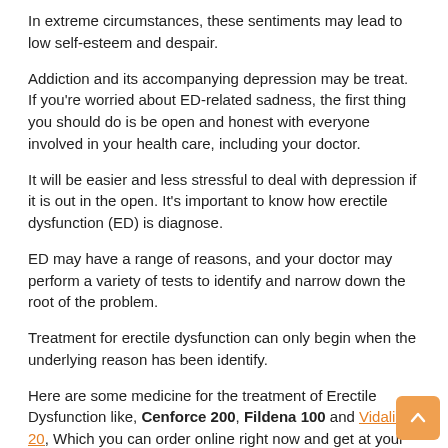In extreme circumstances, these sentiments may lead to low self-esteem and despair.
Addiction and its accompanying depression may be treat. If you're worried about ED-related sadness, the first thing you should do is be open and honest with everyone involved in your health care, including your doctor.
It will be easier and less stressful to deal with depression if it is out in the open. It's important to know how erectile dysfunction (ED) is diagnose.
ED may have a range of reasons, and your doctor may perform a variety of tests to identify and narrow down the root of the problem.
Treatment for erectile dysfunction can only begin when the underlying reason has been identify.
Here are some medicine for the treatment of Erectile Dysfunction like, Cenforce 200, Fildena 100 and Vidalista 20, Which you can order online right now and get at your door.